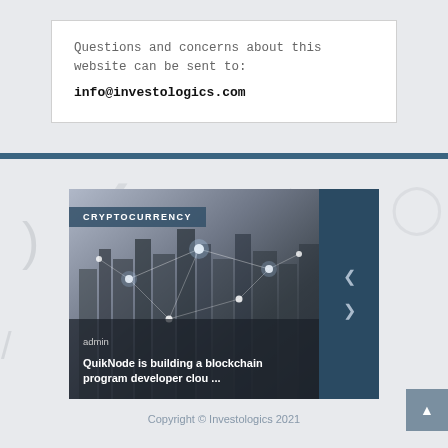Questions and concerns about this website can be sent to:
info@investologics.com
[Figure (screenshot): Cryptocurrency article card showing a blockchain city network image with CRYPTOCURRENCY category tag, admin author label, and title 'QuikNode is building a blockchain program developer clou ...' with dark blue navigation arrows panel on right]
Copyright © Investologics 2021